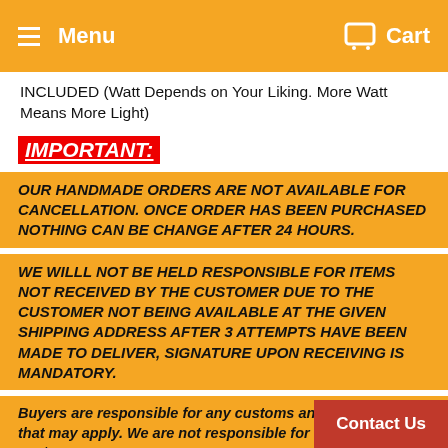Menu  Cart
INCLUDED (Watt Depends on Your Liking. More Watt Means More Light)
IMPORTANT:
OUR HANDMADE ORDERS ARE NOT AVAILABLE FOR CANCELLATION. ONCE ORDER HAS BEEN PURCHASED NOTHING CAN BE CHANGE AFTER 24 HOURS.
WE WILLL NOT BE HELD RESPONSIBLE FOR ITEMS NOT RECEIVED BY THE CUSTOMER DUE TO THE CUSTOMER NOT BEING AVAILABLE AT THE GIVEN SHIPPING ADDRESS AFTER 3 ATTEMPTS HAVE BEEN MADE TO DELIVER, SIGNATURE UPON RECEIVING IS MANDATORY.
Buyers are responsible for any customs and import taxes that may apply. We are not responsible for delays due to customs